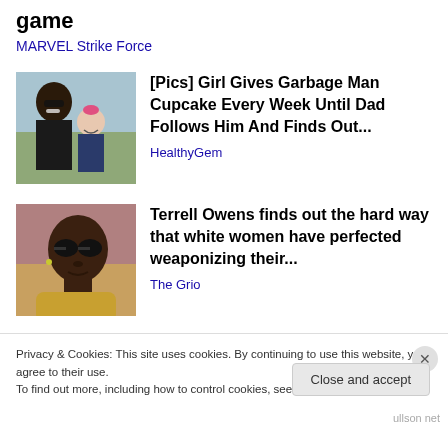game
MARVEL Strike Force
[Figure (photo): Photo of a man and a young girl smiling together outdoors]
[Pics] Girl Gives Garbage Man Cupcake Every Week Until Dad Follows Him And Finds Out...
HealthyGem
[Figure (photo): Photo of Terrell Owens wearing sunglasses]
Terrell Owens finds out the hard way that white women have perfected weaponizing their...
The Grio
Privacy & Cookies: This site uses cookies. By continuing to use this website, you agree to their use.
To find out more, including how to control cookies, see here: Cookie Policy
Close and accept